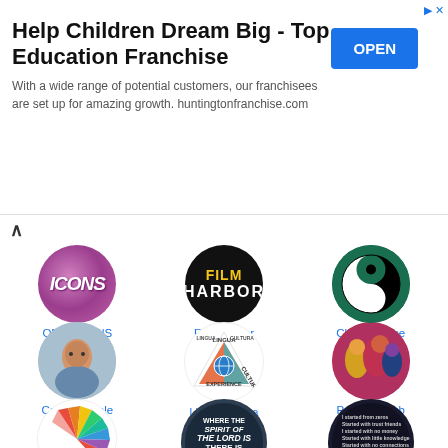[Figure (infographic): Advertisement banner: Help Children Dream Big - Top Education Franchise with OPEN button]
Help Children Dream Big - Top Education Franchise
With a wide range of potential customers, our franchisees are set up for amazing growth. huntingtonfranchise.com
[Figure (logo): ONLY ICONS - pink glitter circle with ICONS text]
ONLY ICONS
[Figure (logo): Film Harbor - black circle with woman silhouette and FILM HARBOR text]
Film Harbor
[Figure (logo): Chill and vibe - teal circle with yin yang symbol]
Chill and vibe
[Figure (photo): Caring people - circle photo of a child]
Caring people
[Figure (logo): Lingua-Cultura Experience - triangle logo with globe]
Lingua-Cultura Experience
[Figure (illustration): P / P / P Club - colorful illustration of people]
P / P / P Club
[Figure (logo): 2e Minds - colorful paper-fan logo]
[Figure (illustration): Where the Spirit of the Lord is There is Freedom - dark circle with text]
[Figure (screenshot): Dark circle with text content]